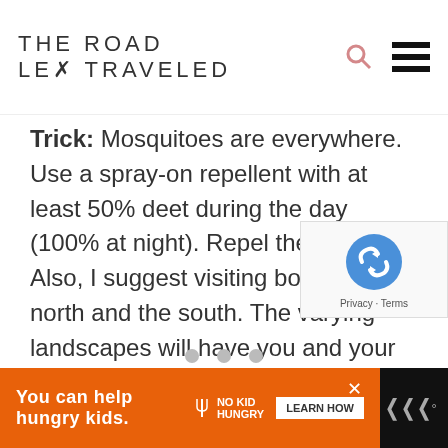THE ROAD LESS TRAVELED
Trick: Mosquitoes are everywhere. Use a spray-on repellent with at least 50% deet during the day (100% at night). Repel the enemy! Also, I suggest visiting both the north and the south. The varying landscapes will have you and your camera busy for hours.
[Figure (other): reCAPTCHA badge with logo and Privacy/Terms links]
[Figure (other): Advertisement banner: You can help hungry kids. No Kid Hungry. Learn How.]